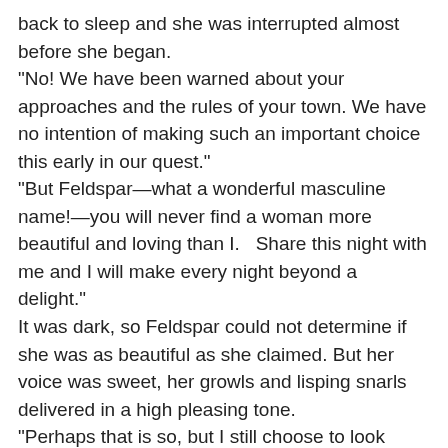back to sleep and she was interrupted almost before she began. "No! We have been warned about your approaches and the rules of your town. We have no intention of making such an important choice this early in our quest." "But Feldspar—what a wonderful masculine name!—you will never find a woman more beautiful and loving than I.   Share this night with me and I will make every night beyond a delight." It was dark, so Feldspar could not determine if she was as beautiful as she claimed. But her voice was sweet, her growls and lisping snarls delivered in a high pleasing tone. "Perhaps that is so, but I still choose to look farther and longer." "Brother, get rid of her and let me return to my sleep," growled Gypsum with harsh impatience. The girl, still on her knees, began to weep.